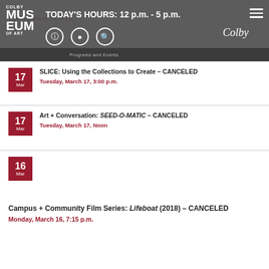TODAY'S HOURS: 12 p.m. - 5 p.m.
You're Speaking My Language: Spanish–Poesía a la – CANCELED
Tuesday, March 18, Noon
SLICE: Using the Collections to Create – CANCELED
Tuesday, March 17, 3:00 p.m.
Art + Conversation: SEED-O-MATIC – CANCELED
Tuesday, March 17, Noon
Campus + Community Film Series: Lifeboat (2018) – CANCELED
Monday, March 16, 7:15 p.m.